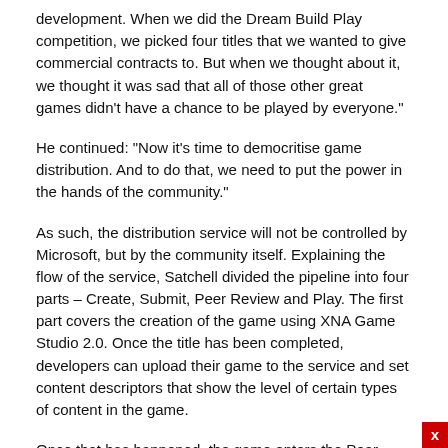development. When we did the Dream Build Play competition, we picked four titles that we wanted to give commercial contracts to. But when we thought about it, we thought it was sad that all of those other great games didn't have a chance to be played by everyone."
He continued: "Now it's time to democritise game distribution. And to do that, we need to put the power in the hands of the community."
As such, the distribution service will not be controlled by Microsoft, but by the community itself. Explaining the flow of the service, Satchell divided the pipeline into four parts – Create, Submit, Peer Review and Play. The first part covers the creation of the game using XNA Game Studio 2.0. Once the title has been completed, developers can upload their game to the service and set content descriptors that show the level of certain types of content in the game.
Once that has happened, the game enters the Peer Review stage, where community members check the game for forbidden content – essentially boiled down to anything that infringes someone else's IP or anything that may fairly be considered objectionable – and assess the